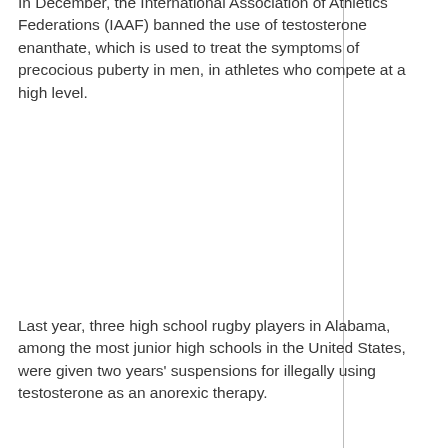In December, the International Association of Athletics Federations (IAAF) banned the use of testosterone enanthate, which is used to treat the symptoms of precocious puberty in men, in athletes who compete at a high level.
Last year, three high school rugby players in Alabama, among the most junior high schools in the United States, were given two years' suspensions for illegally using testosterone as an anorexic therapy.
"It just feels like a joke at this point... that there's any testosterone left in this community. There's not," said Dr Brian Morris, a member of the medical committee at the World Anti-Doping Agency. "The more we hear about it, the more we hear about its dangers. We've got guys on the verge of death, in countries around the world, all because of this stuff."